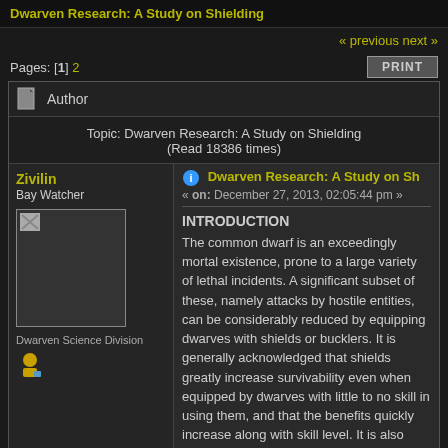Dwarven Research: A Study on Shielding
« previous next »
Pages: [1] 2
PRINT
Author
Topic: Dwarven Research: A Study on Shielding (Read 18386 times)
Zivilin
Bay Watcher
Dwarven Science Division
Dwarven Research: A Study on Sh
« on: December 27, 2013, 02:05:44 pm »
INTRODUCTION
The common dwarf is an exceedingly mortal existence, prone to a large variety of lethal incidents. A significant subset of these, namely attacks by hostile entities, can be considerably reduced by equipping dwarves with shields or bucklers. It is generally acknowledged that shields greatly increase survivability even when equipped by dwarves with little to no skill in using them, and that the benefits quickly increase along with skill level. It is also common knowledge that even attacks of relatively great power can